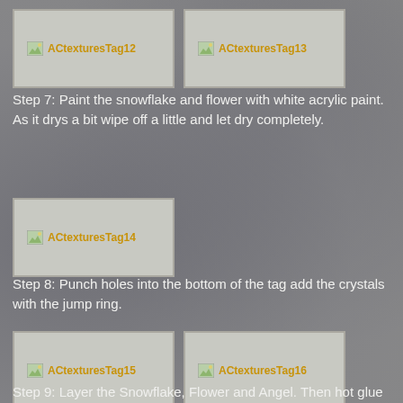[Figure (photo): ACtexturesTag12 image placeholder thumbnail]
[Figure (photo): ACtexturesTag13 image placeholder thumbnail]
Step 7: Paint the snowflake and flower with white acrylic paint. As it drys a bit wipe off a little and let dry completely.
[Figure (photo): ACtexturesTag14 image placeholder thumbnail]
Step 8: Punch holes into the bottom of the tag add the crystals with the jump ring.
[Figure (photo): ACtexturesTag15 image placeholder thumbnail]
[Figure (photo): ACtexturesTag16 image placeholder thumbnail]
Step 9: Layer the Snowflake, Flower and Angel. Then hot glue